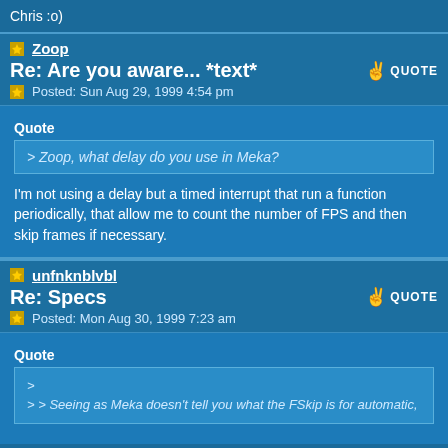Chris :o)
Zoop
Re: Are you aware... *text*
Posted: Sun Aug 29, 1999 4:54 pm
Quote
> Zoop, what delay do you use in Meka?
I'm not using a delay but a timed interrupt that run a function periodically, that allow me to count the number of FPS and then skip frames if necessary.
unfnknblvbl
Re: Specs
Posted: Mon Aug 30, 1999 7:23 am
Quote
>
> > Seeing as Meka doesn't tell you what the FSkip is for automatic,